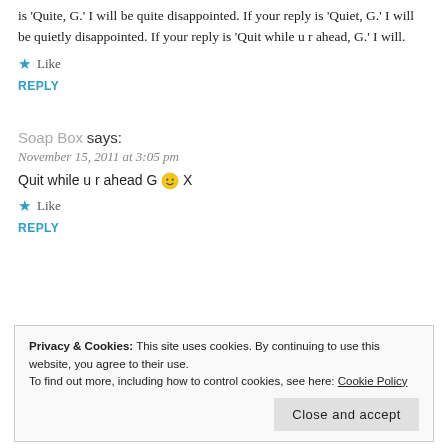is 'Quite, G.' I will be quite disappointed. If your reply is 'Quiet, G.' I will be quietly disappointed. If your reply is 'Quit while u r ahead, G.' I will.
★ Like
REPLY
Soap Box says:
November 15, 2011 at 3:05 pm
Quit while u r ahead G 🙂 X
★ Like
REPLY
Privacy & Cookies: This site uses cookies. By continuing to use this website, you agree to their use.
To find out more, including how to control cookies, see here: Cookie Policy
Close and accept